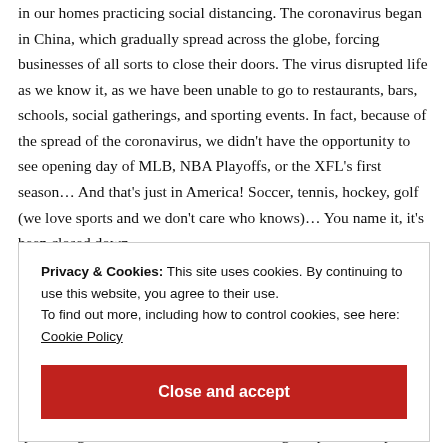in our homes practicing social distancing. The coronavirus began in China, which gradually spread across the globe, forcing businesses of all sorts to close their doors. The virus disrupted life as we know it, as we have been unable to go to restaurants, bars, schools, social gatherings, and sporting events. In fact, because of the spread of the coronavirus, we didn't have the opportunity to see opening day of MLB, NBA Playoffs, or the XFL's first season… And that's just in America! Soccer, tennis, hockey, golf (we love sports and we don't care who knows)… You name it, it's been closed down
Privacy & Cookies: This site uses cookies. By continuing to use this website, you agree to their use.
To find out more, including how to control cookies, see here:
Cookie Policy
Close and accept
sports leagues around the world are looking to open back up